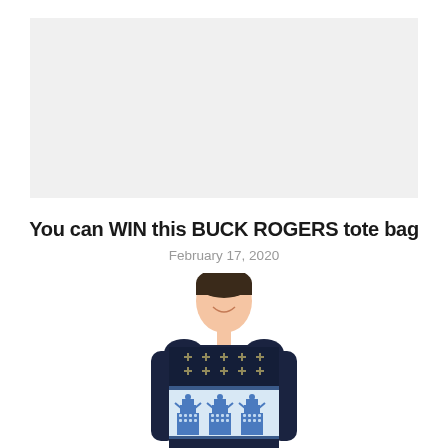[Figure (photo): Gray placeholder banner/advertisement area at the top of the page]
You can WIN this BUCK ROGERS tote bag
February 17, 2020
[Figure (photo): Man wearing a dark blue Doctor Who Dalek Christmas sweater/jumper with blue Dalek figures on the front, smiling, shown from waist up on white background]